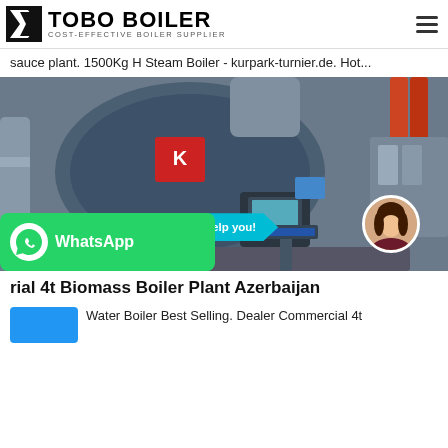TOBO BOILER - COST-EFFECTIVE BOILER SUPPLIER
sauce plant. 1500Kg H Steam Boiler - kurpark-turnier.de. Hot...
[Figure (photo): Industrial steam boiler equipment in a plant facility, with a chat bubble overlay saying 'Hey, let me help you!' and a customer service avatar, plus a WhatsApp button overlay.]
rial 4t Biomass Boiler Plant Azerbaijan
Water Boiler Best Selling. Dealer Commercial 4t